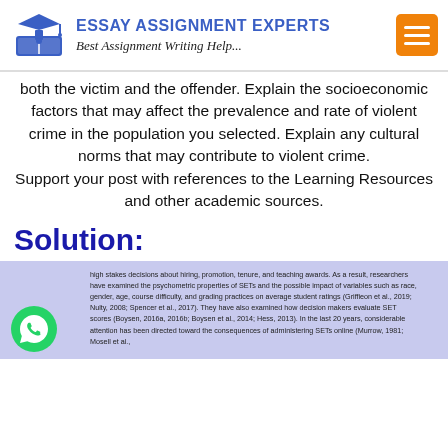[Figure (logo): Essay Assignment Experts logo with graduation cap icon, blue text header and tagline, orange hamburger menu button]
both the victim and the offender. Explain the socioeconomic factors that may affect the prevalence and rate of violent crime in the population you selected. Explain any cultural norms that may contribute to violent crime. Support your post with references to the Learning Resources and other academic sources.
Solution:
high stakes decisions about hiring, promotion, tenure, and teaching awards. As a result, researchers have examined the psychometric properties of SETs and the possible impact of variables such as race, gender, age, course difficulty, and grading practices on average student ratings (Griffieon et al., 2019; Nulty, 2008; Spencer et al., 2017). They have also examined how decision makers evaluate SET scores (Boysen, 2016a, 2016b; Boysen et al., 2014; Hess, 2013). In the last 20 years, considerable attention has been directed toward the consequences of administering SETs online (Murrow, 1981; Mosell et al.,